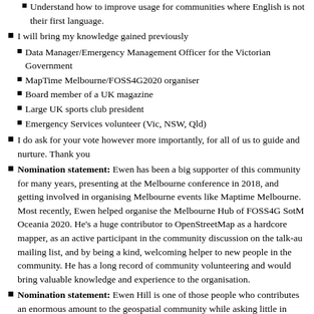Understand how to improve usage for communities where English is not their first language.
I will bring my knowledge gained previously
Data Manager/Emergency Management Officer for the Victorian Government
MapTime Melbourne/FOSS4G2020 organiser
Board member of a UK magazine
Large UK sports club president
Emergency Services volunteer (Vic, NSW, Qld)
I do ask for your vote however more importantly, for all of us to guide and nurture. Thank you
Nomination statement: Ewen has been a big supporter of this community for many years, presenting at the Melbourne conference in 2018, and getting involved in organising Melbourne events like Maptime Melbourne. Most recently, Ewen helped organise the Melbourne Hub of FOSS4G SotM Oceania 2020. He's a huge contributor to OpenStreetMap as a hardcore mapper, as an active participant in the community discussion on the talk-au mailing list, and by being a kind, welcoming helper to new people in the community. He has a long record of community volunteering and would bring valuable knowledge and experience to the organisation.
Nomination statement: Ewen Hill is one of those people who contributes an enormous amount to the geospatial community while asking little in return. He has been involved in almost all